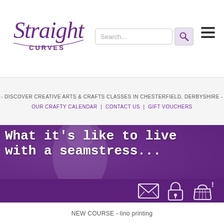[Figure (logo): Straight Curves logo in purple italic script with 'CURVES' in small caps below]
[Figure (screenshot): Search bar with placeholder text 'Search...' and a search button icon, plus hamburger menu icon on the right]
- DISCOVER CREATIVE ARTS & CRAFTS CLASSES IN CHESTERFIELD, DERBYSHIRE -
OUR CRAFTY CALENDAR | CONTACT US | GIFT VOUCHERS
[Figure (photo): Hero image with blurred person in background, purple overlay, large white text reading 'What it's like to live with a seamstress...']
[Figure (illustration): Three icon illustrations: envelope/mail icon, padlock icon, and shopping basket icon on a dark purple background band]
NEW COURSE - lino printing